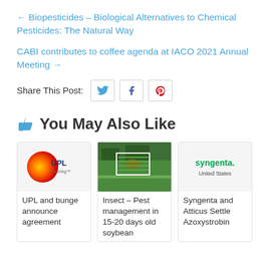← Biopesticides – Biological Alternatives to Chemical Pesticides: The Natural Way
CABI contributes to coffee agenda at IACO 2021 Annual Meeting →
Share This Post:
👍 You May Also Like
UPL and bunge announce agreement
Insect – Pest management in 15-20 days old soybean
Syngenta and Atticus Settle Azoxystrobin